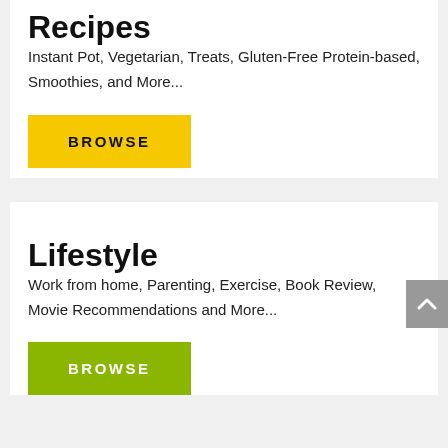Recipes
Instant Pot, Vegetarian, Treats, Gluten-Free Protein-based, Smoothies, and More...
[Figure (other): Yellow BROWSE button]
Lifestyle
Work from home, Parenting, Exercise, Book Review, Movie Recommendations and More...
[Figure (other): Green BROWSE button]